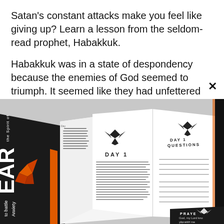Satan's constant attacks make you feel like giving up? Learn a lesson from the seldom-read prophet, Habakkuk.
Habakkuk was in a state of despondency because the enemies of God seemed to triumph. It seemed like they had unfettered ability to oppress God's
[Figure (photo): Flat lay of an open devotional/study book showing 'DAY 1' and 'DAY 1 QUESTIONS' pages, surrounded by other book pages and a dark cover reading 'the Spirit of FEAR' and 'to battle Anxiety']